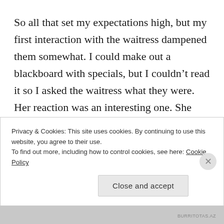So all that set my expectations high, but my first interaction with the waitress dampened them somewhat. I could make out a blackboard with specials, but I couldn't read it so I asked the waitress what they were. Her reaction was an interesting one. She didn't know them by heart. She didn't say she'd forgotten her notes. She didn't wander over, read them and come back or offer to ask a colleague to explain them. Instead, she took the road less
Privacy & Cookies: This site uses cookies. By continuing to use this website, you agree to their use.
To find out more, including how to control cookies, see here: Cookie Policy
Close and accept
BURRITOTAS.AZ